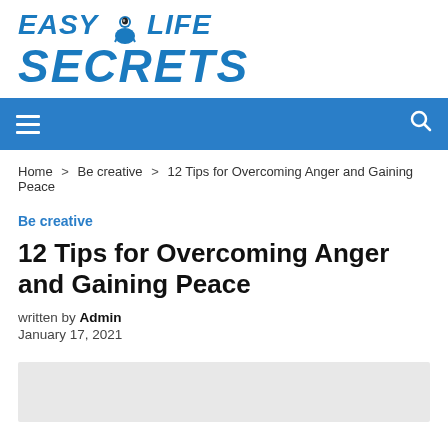Easy Life Secrets
[Figure (logo): Easy Life Secrets website logo with stylized figure icon in blue italic text]
[Figure (screenshot): Blue navigation bar with hamburger menu icon on left and search icon on right]
Home > Be creative > 12 Tips for Overcoming Anger and Gaining Peace
Be creative
12 Tips for Overcoming Anger and Gaining Peace
written by Admin
January 17, 2021
[Figure (other): Light gray rectangular image placeholder area]